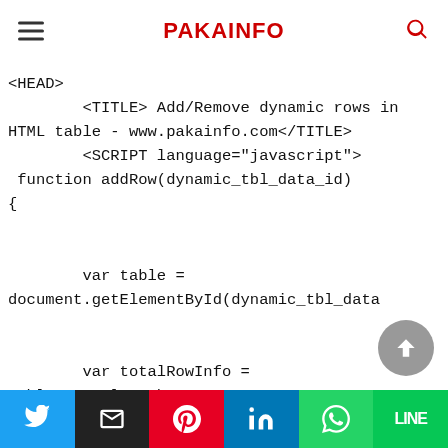PAKAINFO
<HEAD>
        <TITLE> Add/Remove dynamic rows in
HTML table - www.pakainfo.com</TITLE>
        <SCRIPT language="javascript">
 function addRow(dynamic_tbl_data_id)
{


        var table =
document.getElementById(dynamic_tbl_data


        var totalRowInfo =
table.rows.length;